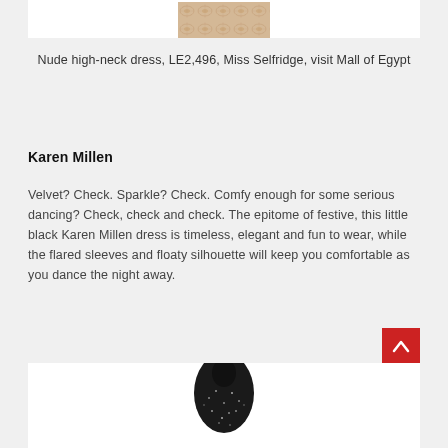[Figure (photo): Top portion of a decorative image, partially visible at the top of the page]
Nude high-neck dress, LE2,496, Miss Selfridge, visit Mall of Egypt
Karen Millen
Velvet? Check. Sparkle? Check. Comfy enough for some serious dancing? Check, check and check. The epitome of festive, this little black Karen Millen dress is timeless, elegant and fun to wear, while the flared sleeves and floaty silhouette will keep you comfortable as you dance the night away.
[Figure (photo): Bottom portion of a black Karen Millen dress with sparkle/embellishment detail, partially visible at bottom of page]